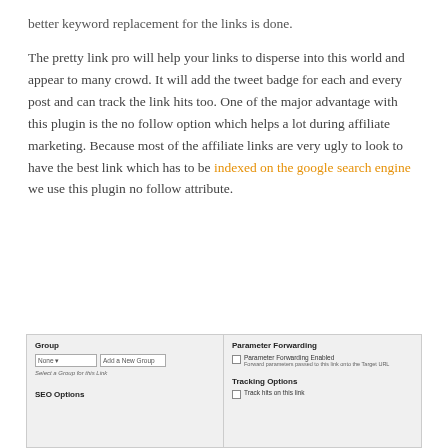better keyword replacement for the links is done.
The pretty link pro will help your links to disperse into this world and appear to many crowd. It will add the tweet badge for each and every post and can track the link hits too. One of the major advantage with this plugin is the no follow option which helps a lot during affiliate marketing. Because most of the affiliate links are very ugly to look to have the best link which has to be indexed on the google search engine we use this plugin no follow attribute.
[Figure (screenshot): Screenshot of a WordPress Pretty Link plugin settings panel showing Group (with None dropdown and Add a New Group field, Select a Group for this Link hint), SEO Options section on the left; and Parameter Forwarding (with Parameter Forwarding Enabled checkbox and Forward parameters passed to this link onto the Target URL note) and Tracking Options section on the right.]